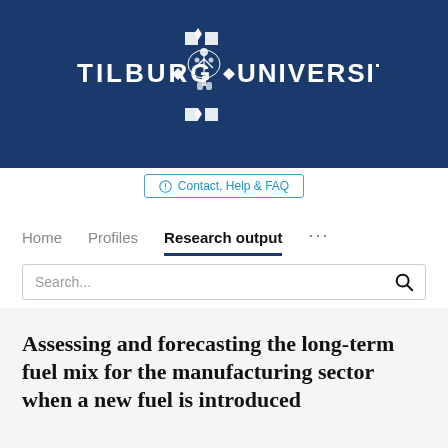[Figure (logo): Tilburg University logo on dark blue background with university crest and text TILBURG UNIVERSITY in white letters]
Contact, Help & FAQ
Home   Profiles   Research output   ...
Search...
Assessing and forecasting the long-term fuel mix for the manufacturing sector when a new fuel is introduced